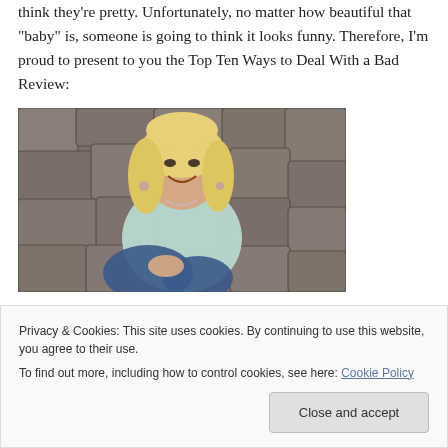think they’re pretty. Unfortunately, no matter how beautiful that “baby” is, someone is going to think it looks funny. Therefore, I’m proud to present to you the Top Ten Ways to Deal With a Bad Review:
[Figure (photo): A smiling blonde woman in a light blue cardigan and jeans, sitting against a stone wall background.]
Privacy & Cookies: This site uses cookies. By continuing to use this website, you agree to their use. To find out more, including how to control cookies, see here: Cookie Policy